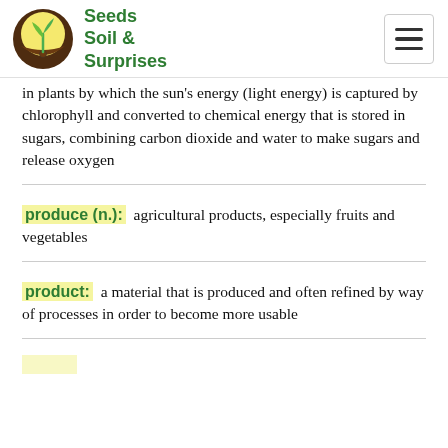Seeds Soil & Surprises
in plants by which the sun's energy (light energy) is captured by chlorophyll and converted to chemical energy that is stored in sugars, combining carbon dioxide and water to make sugars and release oxygen
produce (n.): agricultural products, especially fruits and vegetables
product: a material that is produced and often refined by way of processes in order to become more usable
(partial term visible at bottom)